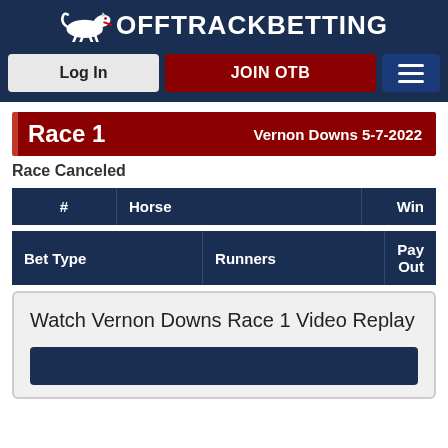OffTrackBetting — Log In | JOIN OTB
Race 1 — Vernon Downs 5-7-2022
Race Canceled
| # | Horse | Win |
| --- | --- | --- |
| Bet Type | Runners | Pay Out |
| --- | --- | --- |
Watch Vernon Downs Race 1 Video Replay